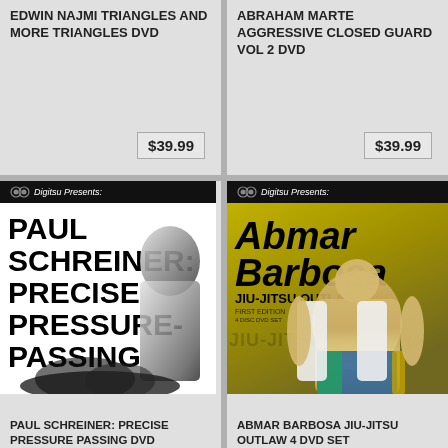EDWIN NAJMI TRIANGLES AND MORE TRIANGLES DVD
$39.99
ABRAHAM MARTE AGGRESSIVE CLOSED GUARD VOL 2 DVD
$39.99
[Figure (photo): DVD cover for Paul Schreiner: Precise Pressure-Passing. Black and white design with large bold text on left and silhouetted martial artist on right. Digitsu Presents banner at top.]
[Figure (photo): DVD cover for Abmar Barbosa Jiu-Jitsu Outlaw 4 DVD Set. Yellow/gold background with Digitsu Presents banner, large italic title text, and photo of shirtless athlete celebrating.]
PAUL SCHREINER: PRECISE PRESSURE PASSING DVD
ABMAR BARBOSA JIU-JITSU OUTLAW 4 DVD SET